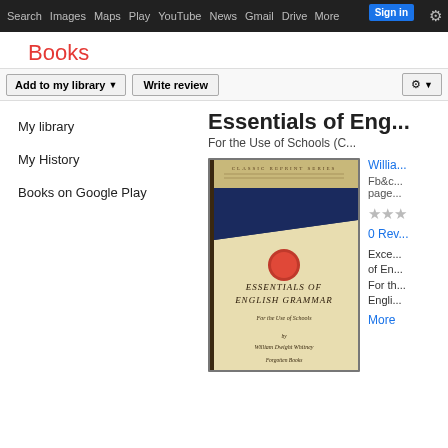Search  Images  Maps  Play  YouTube  News  Gmail  Drive  More  Sign in  [settings]
Books
Add to my library   Write review   [settings dropdown]
Essentials of English Grammar
For the Use of Schools (C...
My library
My History
Books on Google Play
[Figure (photo): Book cover of 'Essentials of English Grammar' by William Dwight Whitney, Classic Reprint Series, Forgotten Books]
William D...
Fb&c... pages
★★★
0 Reviews
Exce... of En... For th... Engli...
More